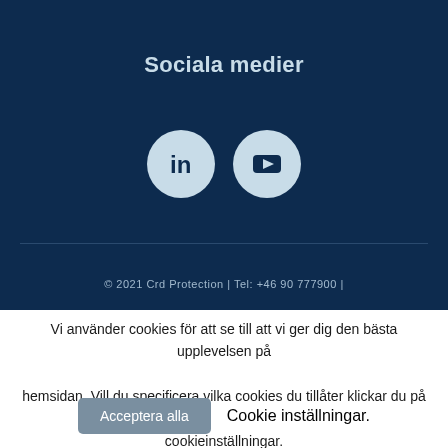Sociala medier
[Figure (illustration): Two circular social media icons on dark background: LinkedIn (in) and YouTube (play button triangle)]
© 2021 Crd Protection | Tel: +46 90 777900 |
Vi använder cookies för att se till att vi ger dig den bästa upplevelsen på hemsidan. Vill du specificera vilka cookies du tillåter klickar du på cookieinställningar.
Acceptera alla   Cookie inställningar.